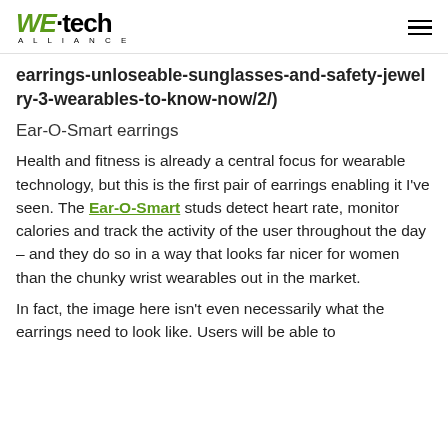WE·tech ALLIANCE
earrings-unloseable-sunglasses-and-safety-jewelry-3-wearables-to-know-now/2/)
Ear-O-Smart earrings
Health and fitness is already a central focus for wearable technology, but this is the first pair of earrings enabling it I've seen. The Ear-O-Smart studs detect heart rate, monitor calories and track the activity of the user throughout the day – and they do so in a way that looks far nicer for women than the chunky wrist wearables out in the market.
In fact, the image here isn't even necessarily what the earrings need to look like. Users will be able to